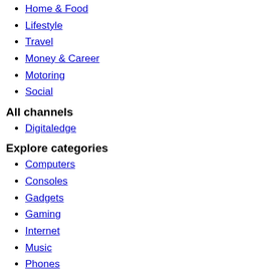Home & Food
Lifestyle
Travel
Money & Career
Motoring
Social
All channels
Digitaledge
Explore categories
Computers
Consoles
Gadgets
Gaming
Internet
Music
Phones
Social networking
Technology
TV